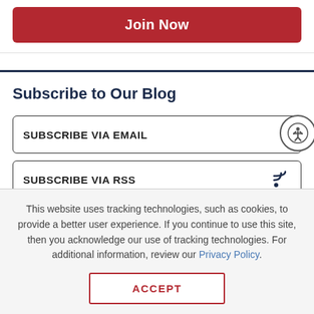Join Now
Subscribe to Our Blog
SUBSCRIBE VIA EMAIL
SUBSCRIBE VIA RSS
This website uses tracking technologies, such as cookies, to provide a better user experience. If you continue to use this site, then you acknowledge our use of tracking technologies. For additional information, review our Privacy Policy.
ACCEPT